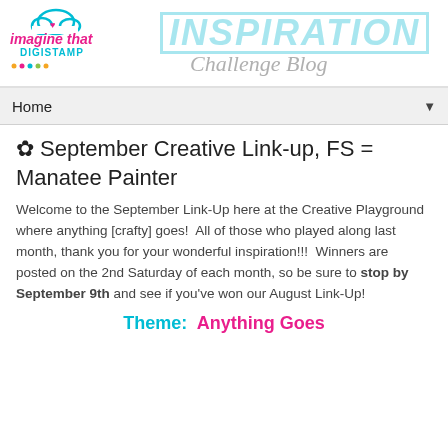[Figure (logo): Imagine That Digistamp logo with cloud and hearts graphic, pink and teal text]
[Figure (logo): INSPIRATION Challenge Blog text logo in teal outlined letters with grey italic script subtitle]
Home ▼
✿ September Creative Link-up, FS = Manatee Painter
Welcome to the September Link-Up here at the Creative Playground where anything [crafty] goes!  All of those who played along last month, thank you for your wonderful inspiration!!!  Winners are posted on the 2nd Saturday of each month, so be sure to stop by September 9th and see if you've won our August Link-Up!
Theme:  Anything Goes